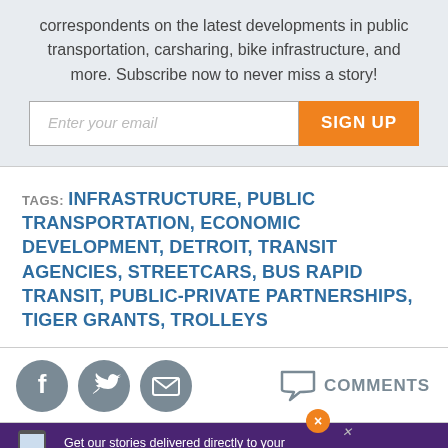correspondents on the latest developments in public transportation, carsharing, bike infrastructure, and more. Subscribe now to never miss a story!
Enter your email | SIGN UP
TAGS: INFRASTRUCTURE, PUBLIC TRANSPORTATION, ECONOMIC DEVELOPMENT, DETROIT, TRANSIT AGENCIES, STREETCARS, BUS RAPID TRANSIT, PUBLIC-PRIVATE PARTNERSHIPS, TIGER GRANTS, TROLLEYS
[Figure (infographic): Social sharing icons: Facebook, Twitter, Email circles, and a Comments link with speech bubble icon]
[Figure (infographic): Ad banner: purple background, phone image, text 'Get our stories delivered directly to your phone with the NEW Next City app!']